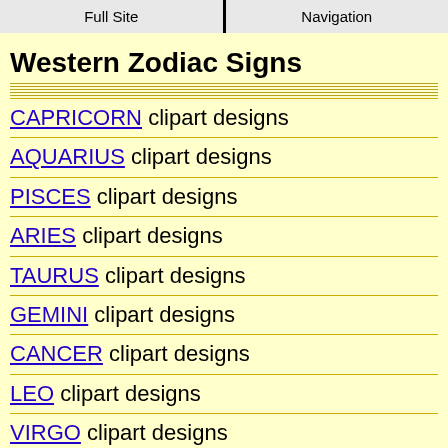Full Site | Navigation
Western Zodiac Signs
CAPRICORN clipart designs
AQUARIUS clipart designs
PISCES clipart designs
ARIES clipart designs
TAURUS clipart designs
GEMINI clipart designs
CANCER clipart designs
LEO clipart designs
VIRGO clipart designs